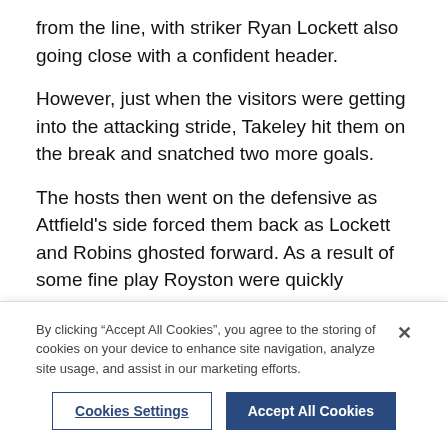from the line, with striker Ryan Lockett also going close with a confident header.
However, just when the visitors were getting into the attacking stride, Takeley hit them on the break and snatched two more goals.
The hosts then went on the defensive as Attfield's side forced them back as Lockett and Robins ghosted forward. As a result of some fine play Royston were quickly rewarded with a second, with Mark Wright capping an impressive display with a deserved header.
Jordan Gibson did have to make two stunning saves
By clicking “Accept All Cookies”, you agree to the storing of cookies on your device to enhance site navigation, analyze site usage, and assist in our marketing efforts.